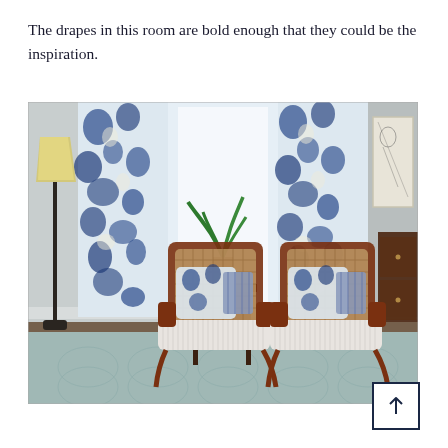The drapes in this room are bold enough that they could be the inspiration.
[Figure (photo): Interior room photo showing two wooden cane-back chairs with blue and white floral cushions, flanking a small dark wood side table with a potted plant on top. Blue and white floral drapes hang on either side of a bright window. A yellow floor lamp stands to the left, and a dark wood dresser is partially visible on the right. A framed artwork hangs on the wall. The floor has a light blue patterned rug.]